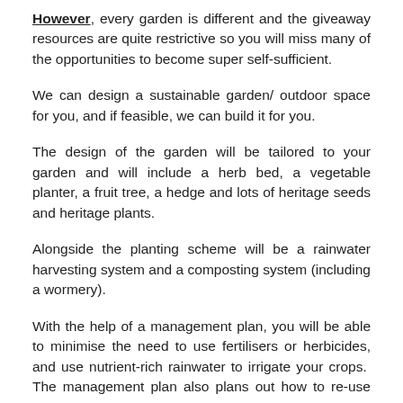However, every garden is different and the giveaway resources are quite restrictive so you will miss many of the opportunities to become super self-sufficient.
We can design a sustainable garden/ outdoor space for you, and if feasible, we can build it for you.
The design of the garden will be tailored to your garden and will include a herb bed, a vegetable planter, a fruit tree, a hedge and lots of heritage seeds and heritage plants.
Alongside the planting scheme will be a rainwater harvesting system and a composting system (including a wormery).
With the help of a management plan, you will be able to minimise the need to use fertilisers or herbicides, and use nutrient-rich rainwater to irrigate your crops.  The management plan also plans out how to re-use your